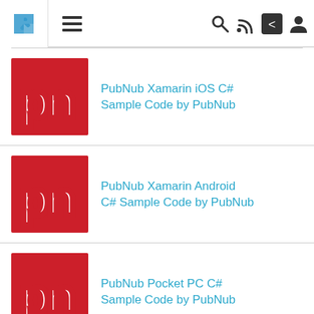[Figure (screenshot): Website navigation bar with puzzle piece icon, hamburger menu, search, RSS, share, and user icons]
[Figure (logo): PubNub red square logo with white 'pn' letters]
PubNub Xamarin iOS C# Sample Code by PubNub
[Figure (logo): PubNub red square logo with white 'pn' letters]
PubNub Xamarin Android C# Sample Code by PubNub
[Figure (logo): PubNub red square logo with white 'pn' letters]
PubNub Pocket PC C# Sample Code by PubNub